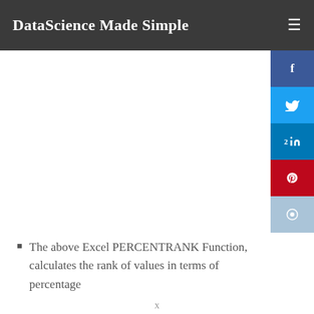DataScience Made Simple
The above Excel PERCENTRANK Function, calculates the rank of values in terms of percentage